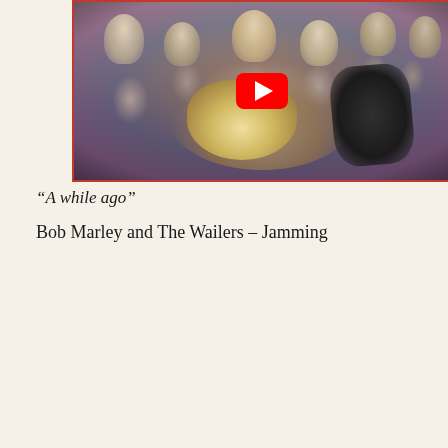[Figure (screenshot): YouTube video thumbnail showing a group of musicians with guitars, with a red YouTube play button overlay in the center]
“A while ago”
Bob Marley and The Wailers – Jamming
[Figure (screenshot): YouTube music player card showing a green avatar with 'M', title 'Bob Marley Jammin', three-dot menu, and an image of Bob Marley below]